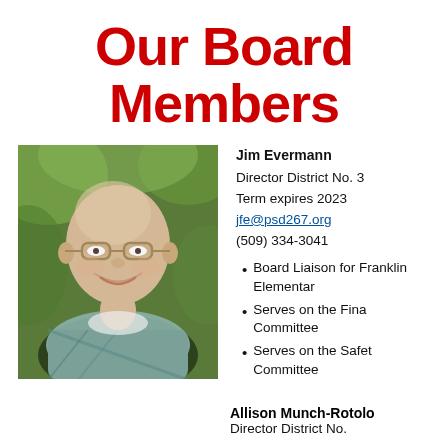Our Board Members
[Figure (photo): Headshot photo of Jim Evermann, a bald man wearing glasses and a plaid shirt, smiling outdoors with green foliage in the background.]
Jim Evermann
Director District No. 3
Term expires 2023
jfe@psd267.org
(509) 334-3041
Board Liaison for Franklin Elementary
Serves on the Finance Committee
Serves on the Safety Committee
Allison Munch-Rotolo
Director District No.